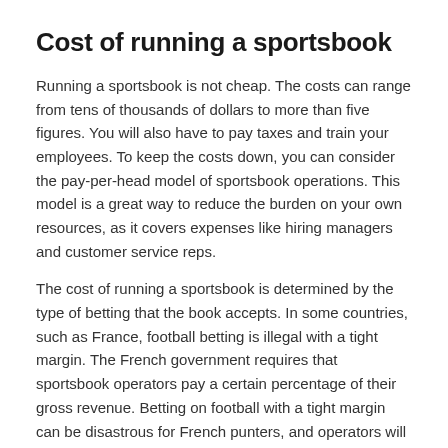Cost of running a sportsbook
Running a sportsbook is not cheap. The costs can range from tens of thousands of dollars to more than five figures. You will also have to pay taxes and train your employees. To keep the costs down, you can consider the pay-per-head model of sportsbook operations. This model is a great way to reduce the burden on your own resources, as it covers expenses like hiring managers and customer service reps.
The cost of running a sportsbook is determined by the type of betting that the book accepts. In some countries, such as France, football betting is illegal with a tight margin. The French government requires that sportsbook operators pay a certain percentage of their gross revenue. Betting on football with a tight margin can be disastrous for French punters, and operators will incur a heavy tax bill come tax time. This is because the true odds are the same no matter where you run your sportsbook.